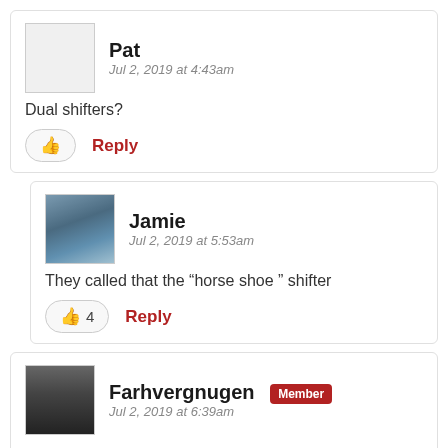Pat — Jul 2, 2019 at 4:43am
Dual shifters?
Reply
Jamie — Jul 2, 2019 at 5:53am
They called that the “horse shoe ” shifter
4 Reply
Farhvergnugen Member — Jul 2, 2019 at 6:39am